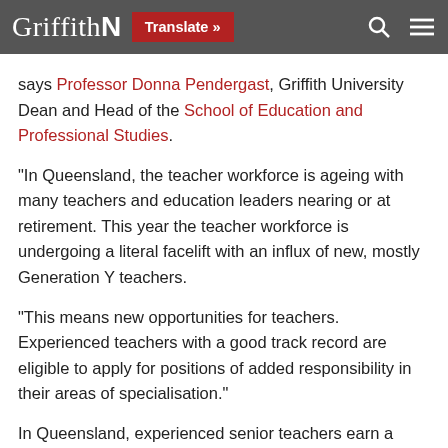Griffith N | Translate » | [search] [menu]
says Professor Donna Pendergast, Griffith University Dean and Head of the School of Education and Professional Studies.
“In Queensland, the teacher workforce is ageing with many teachers and education leaders nearing or at retirement. This year the teacher workforce is undergoing a literal facelift with an influx of new, mostly Generation Y teachers.
“This means new opportunities for teachers. Experienced teachers with a good track record are eligible to apply for positions of added responsibility in their areas of specialisation.”
In Queensland, experienced senior teachers earn a base salary of $94,532 p/a, a head of department earns a base salary of $108,818 p/a, and an executive principal earns a